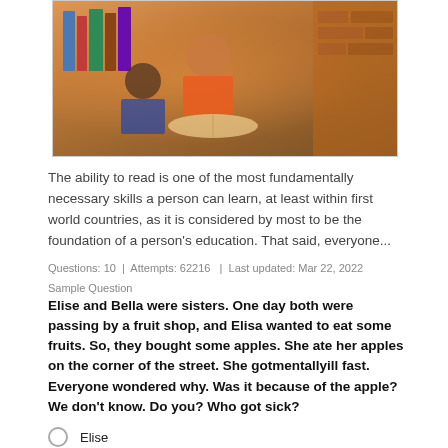[Figure (photo): Children reading books in a library setting]
The ability to read is one of the most fundamentally necessary skills a person can learn, at least within first world countries, as it is considered by most to be the foundation of a person's education. That said, everyone...
Questions: 10  |  Attempts: 62216  |  Last updated: Mar 22, 2022
Sample Question
Elise and Bella were sisters. One day both were passing by a fruit shop, and Elisa wanted to eat some fruits. So, they bought some apples. She ate her apples on the corner of the street. She gotmentallyill fast. Everyone wondered why. Was it because of the apple? We don't know. Do you? Who got sick?
Elise
It can't be said who fell ill.